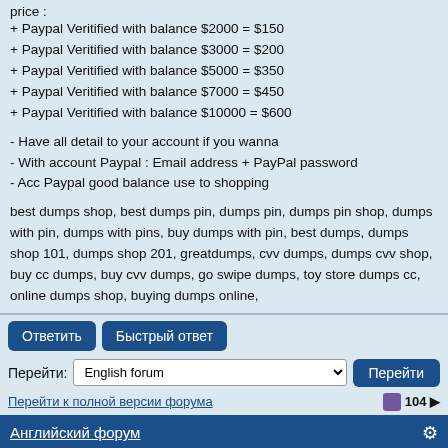price :
+ Paypal Veritified with balance $2000 = $150
+ Paypal Veritified with balance $3000 = $200
+ Paypal Veritified with balance $5000 = $350
+ Paypal Veritified with balance $7000 = $450
+ Paypal Veritified with balance $10000 = $600
- Have all detail to your account if you wanna
- With account Paypal : Email address + PayPal password
- Acc Paypal good balance use to shopping
best dumps shop, best dumps pin, dumps pin, dumps pin shop, dumps with pin, dumps with pins, buy dumps with pin, best dumps, dumps shop 101, dumps shop 201, greatdumps, cvv dumps, dumps cvv shop, buy cc dumps, buy cvv dumps, go swipe dumps, toy store dumps cc, online dumps shop, buying dumps online,
Ответить  Быстрый ответ
Перейти: English forum  Перейти
Перейти к полной версии форума  104
Английский форум